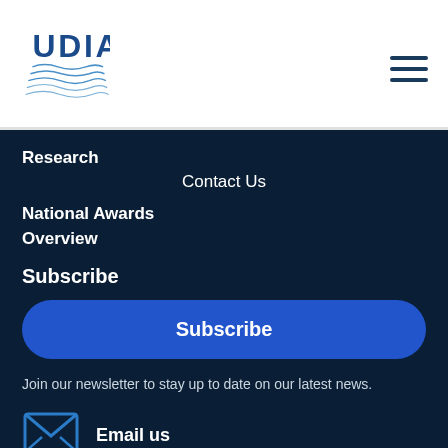[Figure (logo): UDIA logo with stylized wave lines in blue]
[Figure (other): Hamburger menu icon with three horizontal lines]
Research
Contact Us
National Awards Overview
Subscribe
Subscribe
Join our newsletter to stay up to date on our latest news.
[Figure (other): Email envelope icon in blue outline]
Email us